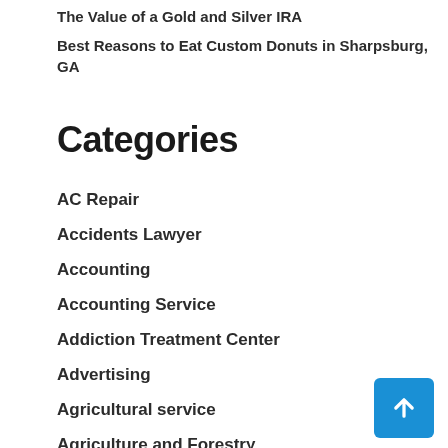The Value of a Gold and Silver IRA
Best Reasons to Eat Custom Donuts in Sharpsburg, GA
Categories
AC Repair
Accidents Lawyer
Accounting
Accounting Service
Addiction Treatment Center
Advertising
Agricultural service
Agriculture and Forestry
Air Conditioner
Air Distribution